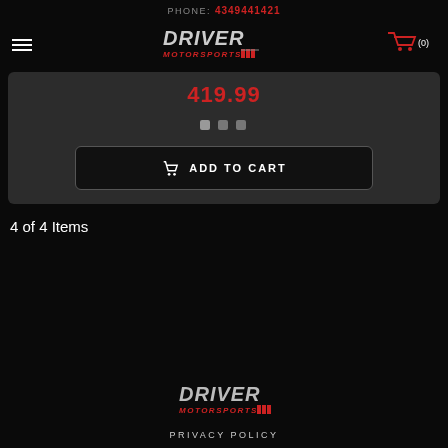PHONE: 4349441421
[Figure (logo): Driver Motorsports logo with red and silver text and checkered flag accents]
[Figure (logo): Shopping cart icon with (0) count]
419.99
[Figure (other): Three small square navigation dots for image carousel]
ADD TO CART
4 of 4 Items
[Figure (logo): Driver Motorsports footer logo]
PRIVACY POLICY